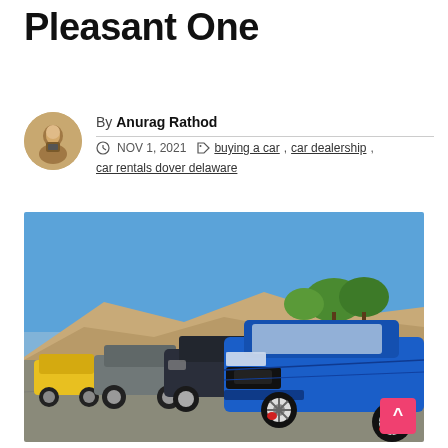Experience A More Pleasant One
By Anurag Rathod
NOV 1, 2021   buying a car, car dealership, car rentals dover delaware
[Figure (photo): A row of modified sport compact cars parked outdoors — prominently a bright blue Honda Civic Type R in the foreground, with gray, blue, and yellow variants behind it. Background shows dry hills and green trees under a blue sky.]